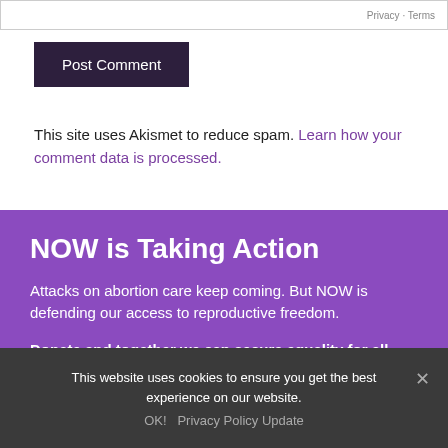Privacy · Terms
Post Comment
This site uses Akismet to reduce spam. Learn how your comment data is processed.
NOW is Taking Action
Attacks on abortion care keep coming. But NOW is defending our access to reproductive freedom.
Donate and together we can secure equality for all women >
This website uses cookies to ensure you get the best experience on our website.
OK!  Privacy Policy Update